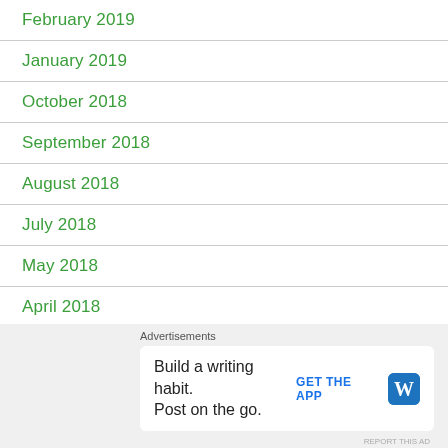February 2019
January 2019
October 2018
September 2018
August 2018
July 2018
May 2018
April 2018
March 2018
February 2018
January 2018
Advertisements
Build a writing habit. Post on the go.
GET THE APP
REPORT THIS AD